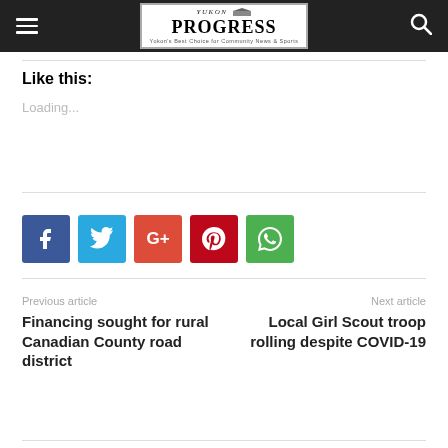Yukon Progress
Like this:
Loading...
[Figure (other): Social share buttons: Facebook (blue), Twitter (light blue), Google+ (orange-red), Pinterest (dark red), WhatsApp (green)]
Previous article
Financing sought for rural Canadian County road district
Next article
Local Girl Scout troop rolling despite COVID-19